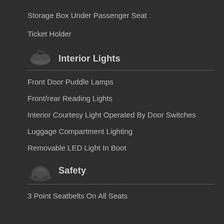Storage Box Under Passenger Seat
Ticket Holder
Interior Lights
Front Door Puddle Lamps
Front/rear Reading Lights
Interior Courtesy Light Operated By Door Switches
Luggage Compartment Lighting
Removable LED Light In Boot
Safety
3 Point Seatbelts On All Seats